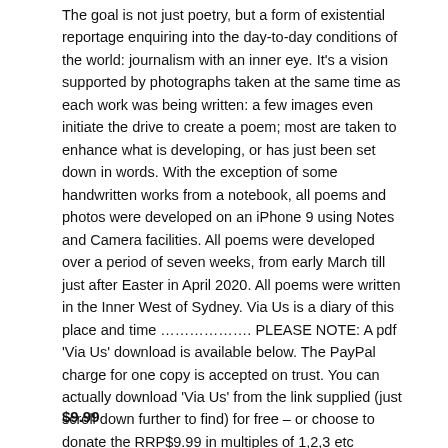The goal is not just poetry, but a form of existential reportage enquiring into the day-to-day conditions of the world: journalism with an inner eye. It's a vision supported by photographs taken at the same time as each work was being written: a few images even initiate the drive to create a poem; most are taken to enhance what is developing, or has just been set down in words. With the exception of some handwritten works from a notebook, all poems and photos were developed on an iPhone 9 using Notes and Camera facilities. All poems were developed over a period of seven weeks, from early March till just after Easter in April 2020. All poems were written in the Inner West of Sydney. Via Us is a diary of this place and time ………………. PLEASE NOTE: A pdf 'Via Us' download is available below. The PayPal charge for one copy is accepted on trust. You can actually download 'Via Us' from the link supplied (just scroll down further to find) for free – or choose to donate the RRP$9.99 in multiples of 1,2,3 etc through PayPal as you wish. Any donation to project will cover time spent and costs, as well as a possible print outcome.
$9.99